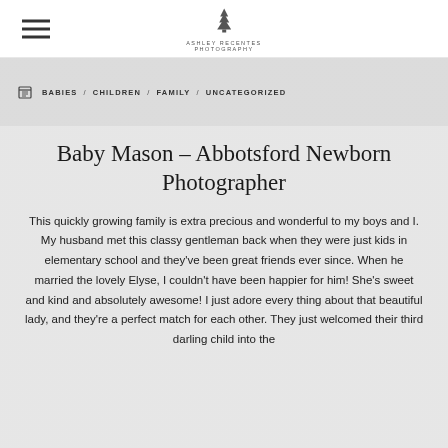BABIES / CHILDREN / FAMILY / UNCATEGORIZED
Baby Mason – Abbotsford Newborn Photographer
This quickly growing family is extra precious and wonderful to my boys and I. My husband met this classy gentleman back when they were just kids in elementary school and they've been great friends ever since. When he married the lovely Elyse, I couldn't have been happier for him! She's sweet and kind and absolutely awesome! I just adore every thing about that beautiful lady, and they're a perfect match for each other. They just welcomed their third darling child into the